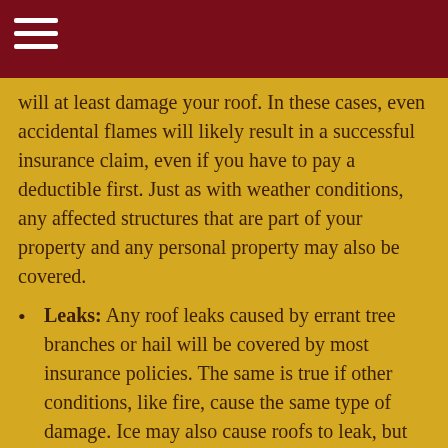[dark red header bar with hamburger menu icon]
will at least damage your roof. In these cases, even accidental flames will likely result in a successful insurance claim, even if you have to pay a deductible first. Just as with weather conditions, any affected structures that are part of your property and any personal property may also be covered.
Leaks: Any roof leaks caused by errant tree branches or hail will be covered by most insurance policies. The same is true if other conditions, like fire, cause the same type of damage. Ice may also cause roofs to leak, but that must be due to extraordinary circumstances, not lack of preparation. However, if your roof leaks due to poor maintenance or age, that will not be covered by your insurance. This is why you want to invest in annual roof inspections for your own home and order one for any home you are considering buying. The unknowns can result in